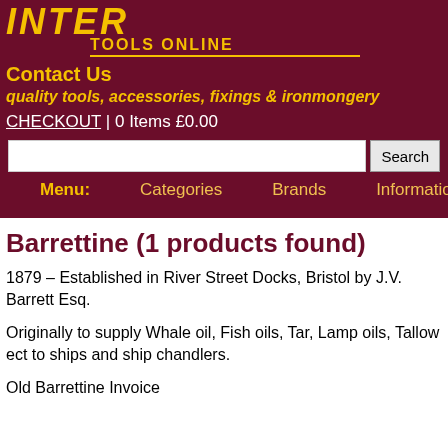INTER TOOLS ONLINE
Contact Us
quality tools, accessories, fixings & ironmongery
CHECKOUT | 0 Items £0.00
Barrettine (1 products found)
1879 – Established in River Street Docks, Bristol by J.V. Barrett Esq.
Originally to supply Whale oil, Fish oils, Tar, Lamp oils, Tallow ect to ships and ship chandlers.
Old Barrettine Invoice